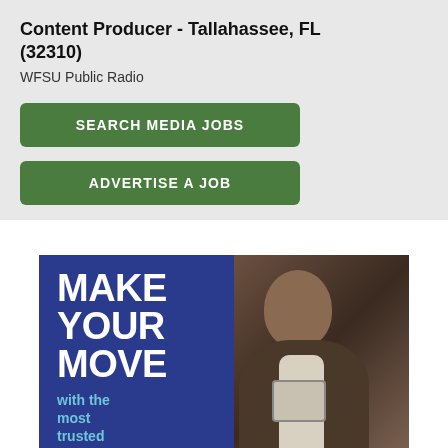Content Producer - Tallahassee, FL (32310)
WFSU Public Radio
SEARCH MEDIA JOBS
ADVERTISE A JOB
[Figure (infographic): Blue banner advertisement with bold white text 'MAKE YOUR MOVE' and teal text 'with the most trusted brands in media', alongside a photo of a man in a suit looking at a tablet device.]